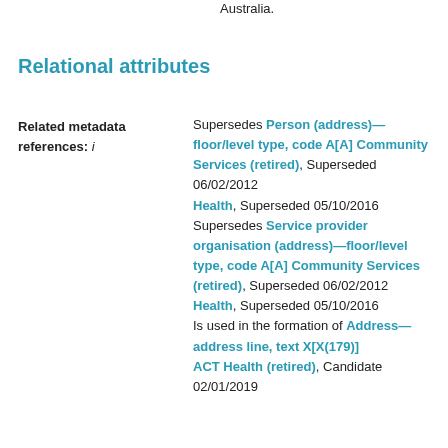Australia.
Relational attributes
Related metadata references: i — Supersedes Person (address)—floor/level type, code A[A] Community Services (retired), Superseded 06/02/2012 Health, Superseded 05/10/2016 Supersedes Service provider organisation (address)—floor/level type, code A[A] Community Services (retired), Superseded 06/02/2012 Health, Superseded 05/10/2016 Is used in the formation of Address—address line, text X[X(179)] ACT Health (retired), Candidate 02/01/2019